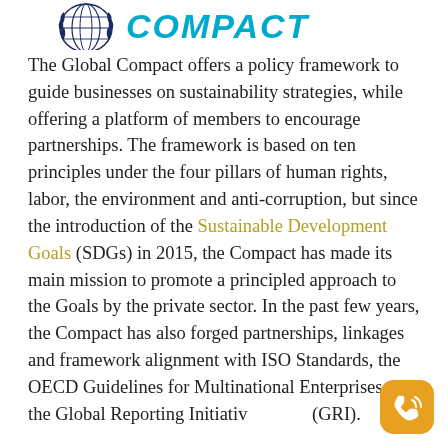[Figure (logo): UN Global Compact logo — stylized globe/laurel icon in dark navy blue on the left, and bold italic 'COMPACT' text in navy blue with teal/cyan color on the right]
The Global Compact offers a policy framework to guide businesses on sustainability strategies, while offering a platform of members to encourage partnerships. The framework is based on ten principles under the four pillars of human rights, labor, the environment and anti-corruption, but since the introduction of the Sustainable Development Goals (SDGs) in 2015, the Compact has made its main mission to promote a principled approach to the Goals by the private sector. In the past few years, the Compact has also forged partnerships, linkages and framework alignment with ISO Standards, the OECD Guidelines for Multinational Enterprises and the Global Reporting Initiative (GRI).